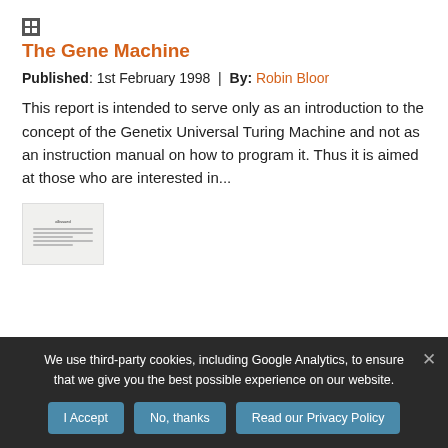[Figure (logo): Small square icon/logo at top left]
The Gene Machine
Published: 1st February 1998 | By: Robin Bloor
This report is intended to serve only as an introduction to the concept of the Genetix Universal Turing Machine and not as an instruction manual on how to program it. Thus it is aimed at those who are interested in...
[Figure (thumbnail): Small thumbnail image of a document/report cover]
We use third-party cookies, including Google Analytics, to ensure that we give you the best possible experience on our website.
I Accept | No, thanks | Read our Privacy Policy